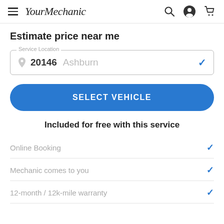YourMechanic
Estimate price near me
Service Location: 20146 Ashburn
SELECT VEHICLE
Included for free with this service
Online Booking
Mechanic comes to you
12-month / 12k-mile warranty